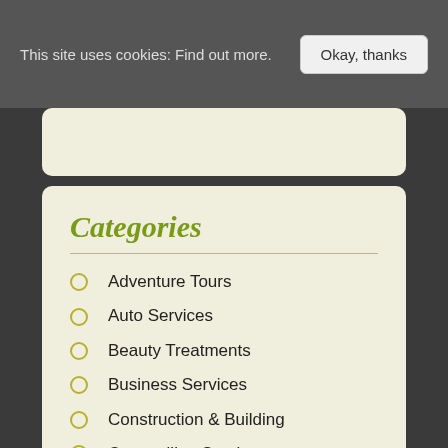This site uses cookies: Find out more. Okay, thanks
Categories
Adventure Tours
Auto Services
Beauty Treatments
Business Services
Construction & Building
Counselling Services
Ecommerce
Fitness & Sports